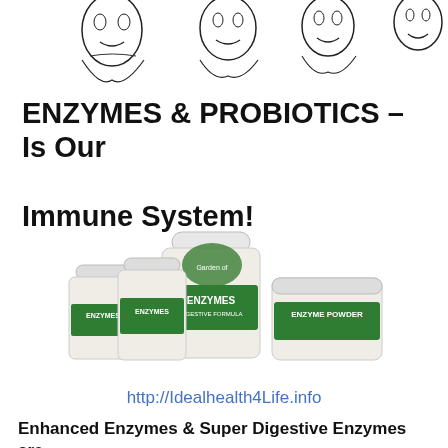[Figure (illustration): Four hand-drawn sketch illustrations of faces/people at the top of the page]
ENZYMES & PROBIOTICS – Is Our Immune System!
[Figure (photo): Product photo showing multiple enzyme supplement bottles and containers with green labels, including ENZYMES and ENZYME POWDER products]
http://Idealhealth4Life.info
Enhanced Enzymes & Super Digestive Enzymes are